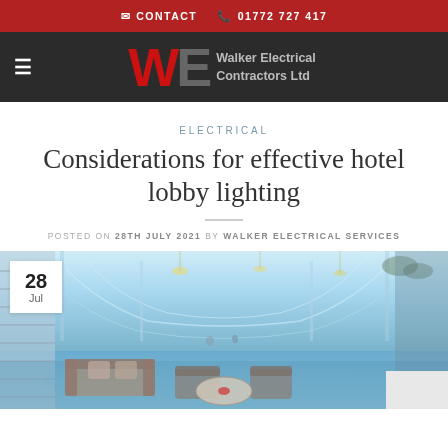CONTACT  01772 727 417
[Figure (logo): Walker Electrical Contractors Ltd logo with hamburger menu icon, large WE letters in red and grey, company name in grey text on dark background]
ELECTRICAL
Considerations for effective hotel lobby lighting
POSTED ON 28TH JULY 2021 BY WALKER ELECTRICAL SERVICES
[Figure (photo): Hotel lobby interior with high arched glass ceiling, chandeliers, seating area with sofas and chairs around a round table, cool blue lighting ambiance. Date badge showing 28 Jul in top left corner.]